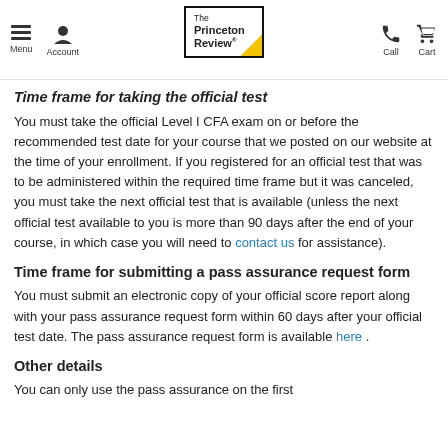Menu | Account | The Princeton Review | Call | Cart
Time frame for taking the official test
You must take the official Level I CFA exam on or before the recommended test date for your course that we posted on our website at the time of your enrollment. If you registered for an official test that was to be administered within the required time frame but it was canceled, you must take the next official test that is available (unless the next official test available to you is more than 90 days after the end of your course, in which case you will need to contact us for assistance).
Time frame for submitting a pass assurance request form
You must submit an electronic copy of your official score report along with your pass assurance request form within 60 days after your official test date. The pass assurance request form is available here .
Other details
You can only use the pass assurance on the first